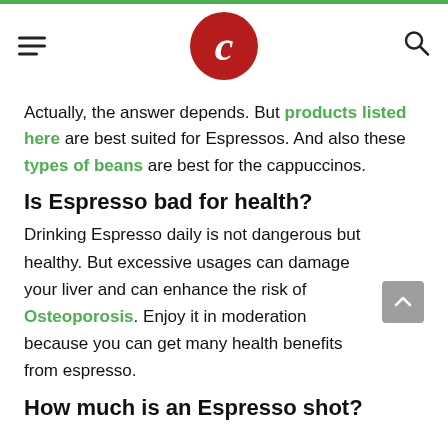C (logo)
Actually, the answer depends. But products listed here are best suited for Espressos. And also these types of beans are best for the cappuccinos.
Is Espresso bad for health?
Drinking Espresso daily is not dangerous but healthy. But excessive usages can damage your liver and can enhance the risk of Osteoporosis. Enjoy it in moderation because you can get many health benefits from espresso.
How much is an Espresso shot?